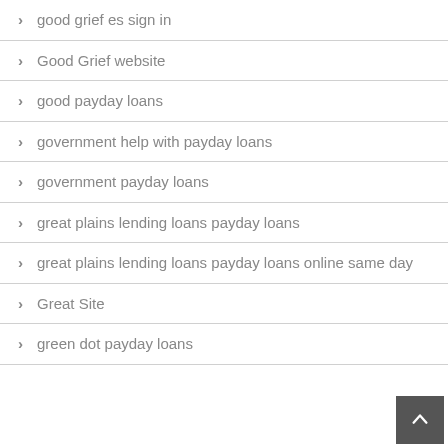good grief es sign in
Good Grief website
good payday loans
government help with payday loans
government payday loans
great plains lending loans payday loans
great plains lending loans payday loans online same day
Great Site
green dot payday loans